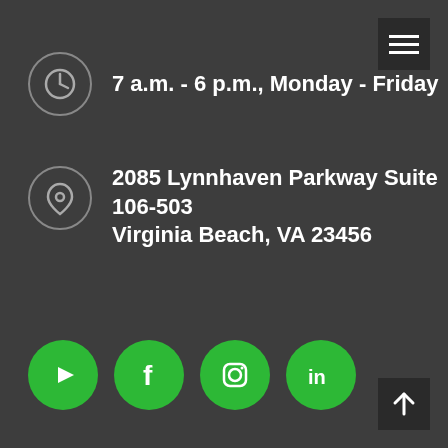[Figure (infographic): Menu hamburger button (dark square with three white lines) in top right corner]
7 a.m. - 6 p.m., Monday - Friday
2085 Lynnhaven Parkway Suite 106-503 Virginia Beach, VA 23456
[Figure (infographic): Four green circular social media icons: YouTube, Facebook, Instagram, LinkedIn]
[Figure (infographic): Back to top button (dark square with upward arrow) in bottom right corner]